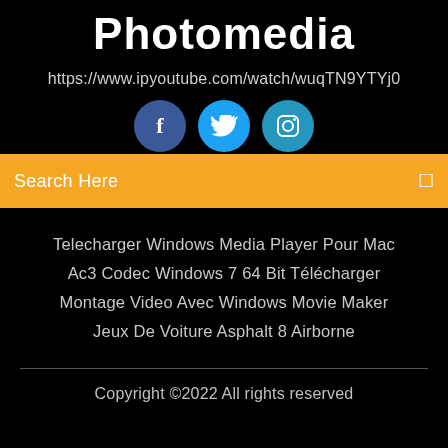Photomedia
https://www.ipyoutube.com/watch/wuqTN9YTYj0
[Figure (illustration): Three social media icon circles: Facebook (dark blue), Twitter (medium blue), Instagram (light blue)]
Search Here
Telecharger Windows Media Player Pour Mac
Ac3 Codec Windows 7 64 Bit Télécharger
Montage Video Avec Windows Movie Maker
Jeux De Voiture Asphalt 8 Airborne
Copyright ©2022 All rights reserved